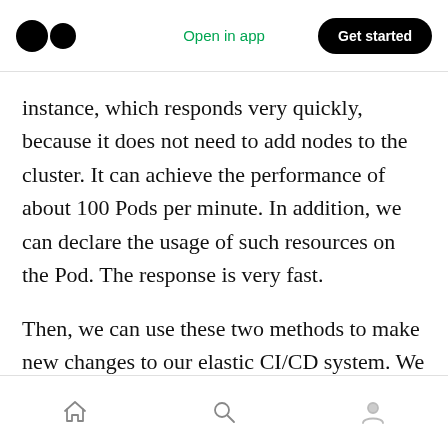Open in app | Get started
instance, which responds very quickly, because it does not need to add nodes to the cluster. It can achieve the performance of about 100 Pods per minute. In addition, we can declare the usage of such resources on the Pod. The response is very fast.
Then, we can use these two methods to make new changes to our elastic CI/CD system. We do not have to plan the scale of the cluster very early, and we can make the cluster scale automatically as needed. However, after all the
Home | Search | Profile